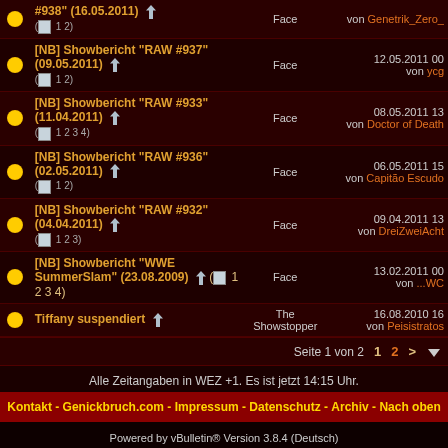|  | Title | Forum | Last Post |
| --- | --- | --- | --- |
| [icon] | [NB] Showbericht "RAW #938" (16.05.2011) (1 2) | Face | von Genetrik_Zero_ |
| [icon] | [NB] Showbericht "RAW #937" (09.05.2011) (1 2) | Face | 12.05.2011 00 von ycg |
| [icon] | [NB] Showbericht "RAW #933" (11.04.2011) (1 2 3 4) | Face | 08.05.2011 13 von Doctor of Death |
| [icon] | [NB] Showbericht "RAW #936" (02.05.2011) (1 2) | Face | 06.05.2011 15 von Capitão Escudo |
| [icon] | [NB] Showbericht "RAW #932" (04.04.2011) (1 2 3) | Face | 09.04.2011 13 von DreiZweiAcht |
| [icon] | [NB] Showbericht "WWE SummerSlam" (23.08.2009) (1 2 3 4) | Face | 13.02.2011 00 von ...WC |
| [icon] | Tiffany suspendiert | The Showstopper | 16.08.2010 16 von Peisistratos |
Seite 1 von 2  1  2  >
Alle Zeitangaben in WEZ +1. Es ist jetzt 14:15 Uhr.
Kontakt - Genickbruch.com - Impressum - Datenschutz - Archiv - Nach oben
Powered by vBulletin® Version 3.8.4 (Deutsch)
Copyright ©2000 - 2022, Jelsoft Enterprises Ltd.